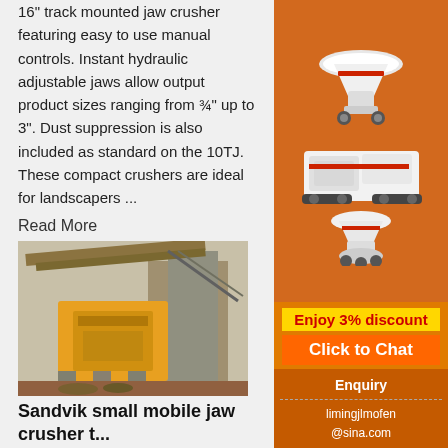16" track mounted jaw crusher featuring easy to use manual controls. Instant hydraulic adjustable jaws allow output product sizes ranging from ¾" up to 3". Dust suppression is also included as standard on the 10TJ. These compact crushers are ideal for landscapers ...
Read More
[Figure (photo): Large yellow industrial crusher/screening plant machinery in operation at a construction or mining site]
Sandvik small mobile jaw crusher t... plant - Jaw crusher ...
2021-9-3   Sandvik Mobile crushers are t... mounted rock crushing machines that are eas... movable on and between production sites. Th... widely used in aggregates production, recyclin... applications, and in mining operations. Mobile crushers can replace stationary crushing systems, which reduces
[Figure (illustration): Orange sidebar advertisement showing white industrial crushing machines (cone crusher, mobile crusher, vertical shaft impact crusher). Includes 'Enjoy 3% discount', 'Click to Chat' button, Enquiry section, and limingjlmofen@sina.com contact email.]